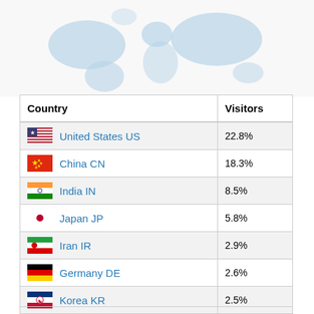[Figure (map): World map showing visitor distribution by country, light blue shading on countries]
| Country | Visitors |
| --- | --- |
| United States US | 22.8% |
| China CN | 18.3% |
| India IN | 8.5% |
| Japan JP | 5.8% |
| Iran IR | 2.9% |
| Germany DE | 2.6% |
| Korea KR | 2.5% |
| United Kingdom GB | 2.3% |
| Canada CA | 1.9% |
| Other | 32.7% |